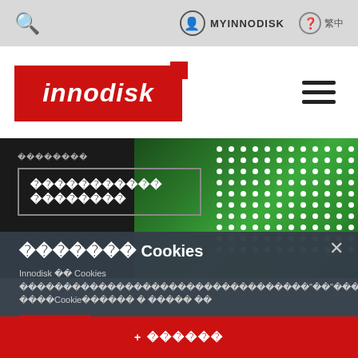🔍  MYINNODISK  ❓ 繁中
[Figure (logo): Innodisk logo: red background with white italic text 'innodisk' and a small red square accent]
[Figure (photo): Hero banner showing green circuit board / PCB with white solder dots on right side, dark background on left with text overlay showing product category and title in white]
關閉 Cookies
Innodisk 以 Cookies 蒐集您對本網站的瀏覽行為，以"您"為中心提供個人化的Cookie使用說明 及 隱私政策 說明
--
+ 更多資訊